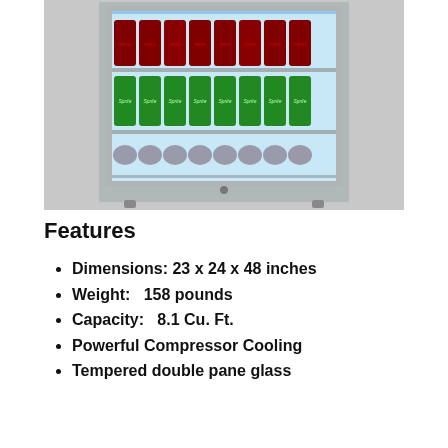[Figure (photo): A commercial beverage refrigerator/cooler with glass door, stocked with Coca-Cola Zero cans on top shelf, Sprite cans on middle shelf, and canned beverages on bottom shelf. The fridge has a stainless steel frame and interior LED lighting.]
Features
Dimensions: 23 x 24 x 48 inches
Weight:  158 pounds
Capacity:  8.1 Cu. Ft.
Powerful Compressor Cooling
Tempered double pane glass